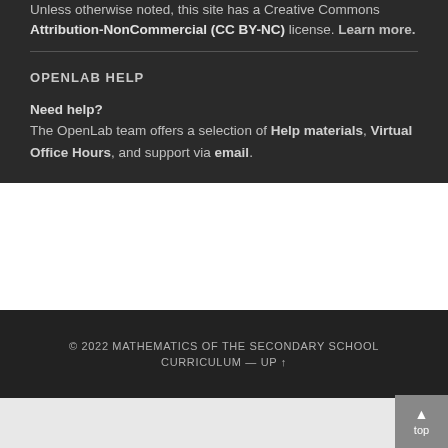Unless otherwise noted, this site has a Creative Commons Attribution-NonCommercial (CC BY-NC) license. Learn more.
OPENLAB HELP
Need help? The OpenLab team offers a selection of Help materials, Virtual Office Hours, and support via email.
© 2022 MATHEMATICS OF THE SECONDARY SCHOOL CURRICULUM — UP ↑
The OpenLab at City Tech: